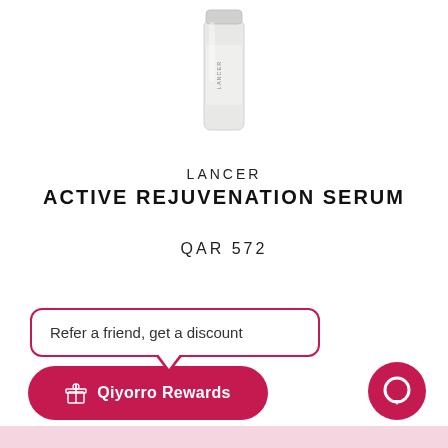[Figure (photo): Partial view of a Lancer skincare product bottle (serum) shown from the bottom portion, white/clear glass bottle with LANCER branding, on white background]
LANCER
ACTIVE REJUVENATION SERUM
QAR 572
Refer a friend, get a discount
Qiyorro Rewards